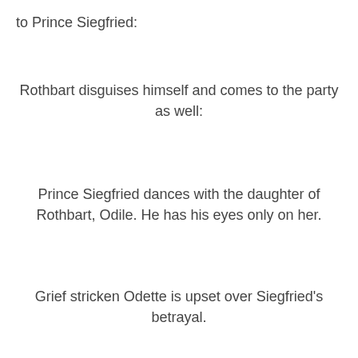to Prince Siegfried:
Rothbart disguises himself and comes to the party as well:
Prince Siegfried dances with the daughter of Rothbart, Odile. He has his eyes only on her.
Grief stricken Odette is upset over Siegfried's betrayal.